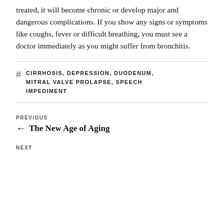treated, it will become chronic or develop major and dangerous complications. If you show any signs or symptoms like coughs, fever or difficult breathing, you must see a doctor immediately as you might suffer from bronchitis.
# CIRRHOSIS, DEPRESSION, DUODENUM, MITRAL VALVE PROLAPSE, SPEECH IMPEDIMENT
Previous
← The New Age of Aging
NEXT